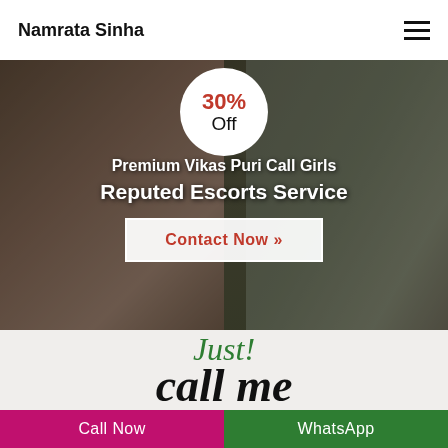Namrata Sinha
[Figure (photo): Hero banner background with a person, overlaid with a 30% Off circular badge, white text overlay, and a Contact Now button]
30% Off
Premium Vikas Puri Call Girls
Reputed Escorts Service
Contact Now »
[Figure (illustration): Decorative script text reading 'Just! call me' in green and black italic handwriting style]
Call Now
WhatsApp